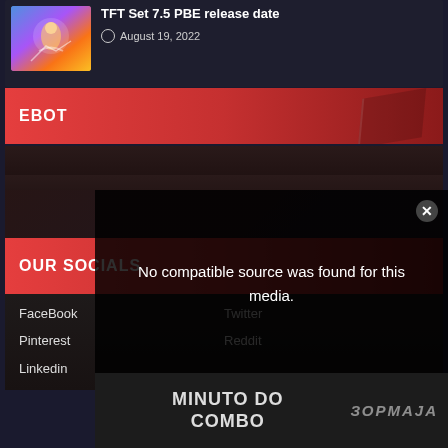[Figure (screenshot): Article thumbnail showing colorful fantasy game art with a character]
TFT Set 7.5 PBE release date
August 19, 2022
EBOT
OUR SOCIALS
FaceBook
Twitter
Pinterest
Reddit
Linkedin
No compatible source was found for this media.
MINUTO DO COMBO